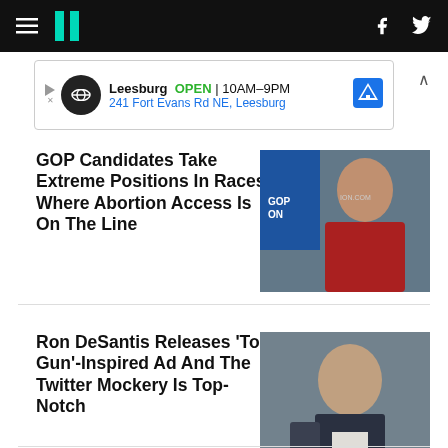HuffPost navigation bar with hamburger menu, logo, Facebook and Twitter icons
[Figure (other): Advertisement banner: Leesburg OPEN 10AM-9PM, 241 Fort Evans Rd NE, Leesburg with map icon]
GOP Candidates Take Extreme Positions In Races Where Abortion Access Is On The Line
[Figure (photo): Photo of a woman in red top smiling, at a political event]
Ron DeSantis Releases 'Top Gun'-Inspired Ad And The Twitter Mockery Is Top-Notch
[Figure (photo): Photo of Ron DeSantis speaking]